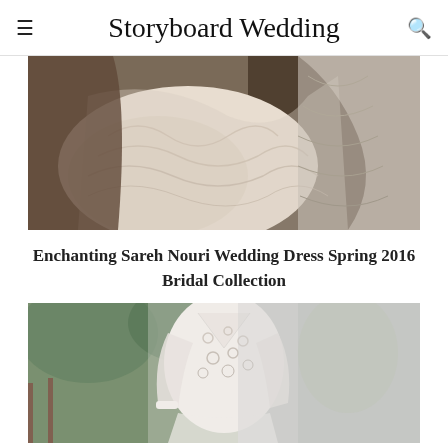Storyboard Wedding
[Figure (photo): Close-up photo of a woman wearing a white lace long-sleeve wedding dress, showing intricate lace sleeve detail against a dark background]
Enchanting Sareh Nouri Wedding Dress Spring 2016 Bridal Collection
[Figure (photo): Photo of a bride wearing a white lace wedding dress with floral appliques and sheer long sleeves, standing outdoors near a wooden fence]